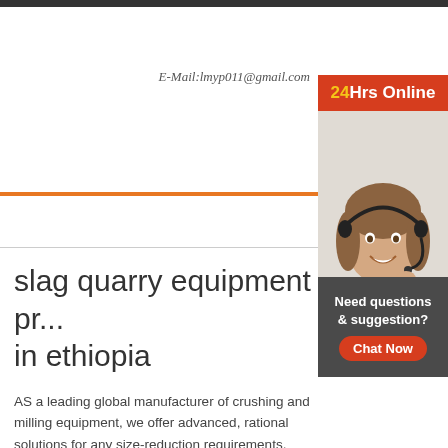E-Mail:lmyp011@gmail.com
slag quarry equipment pr... in ethiopia
AS a leading global manufacturer of crushing and milling equipment, we offer advanced, rational solutions for any size-reduction requirements, including quarry, aggregate, grinding production and complete stone crushing plant. We also supply
[Figure (photo): Customer service representative woman wearing headset, smiling, with '24Hrs Online' banner and 'Need questions & suggestion? Chat Now' callout box.]